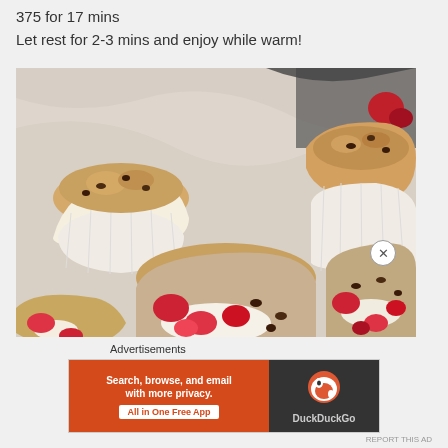375 for 17 mins
Let rest for 2-3 mins and enjoy while warm!
[Figure (photo): Close-up photo of freshly baked muffins with raspberries and chocolate chips in paper cupcake liners, some cut open showing creamy filling, on a marble surface]
Advertisements
[Figure (infographic): DuckDuckGo advertisement banner: 'Search, browse, and email with more privacy. All in One Free App' on orange background with DuckDuckGo logo on dark background]